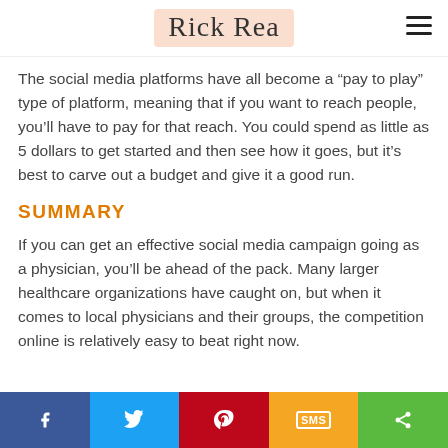Rick Rea
The social media platforms have all become a “pay to play” type of platform, meaning that if you want to reach people, you’ll have to pay for that reach. You could spend as little as 5 dollars to get started and then see how it goes, but it’s best to carve out a budget and give it a good run.
SUMMARY
If you can get an effective social media campaign going as a physician, you’ll be ahead of the pack. Many larger healthcare organizations have caught on, but when it comes to local physicians and their groups, the competition online is relatively easy to beat right now.
Facebook | Twitter | Pinterest | SMS | Share